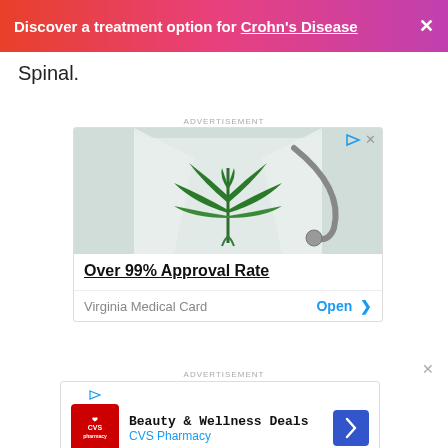Discover a treatment option for Crohn's Disease ×
Spinal.
ADVERTISEMENT
[Figure (photo): Advertisement for Virginia Medical Card showing a cannabis leaf held in front of a person in a white doctor's coat with a stethoscope. Text reads 'Over 99% Approval Rate' and 'Virginia Medical Card  Open ›']
ADVERTISEMENT
[Figure (photo): Advertisement for CVS Pharmacy showing Beauty & Wellness Deals with CVS Pharmacy logo and a navigation arrow icon]